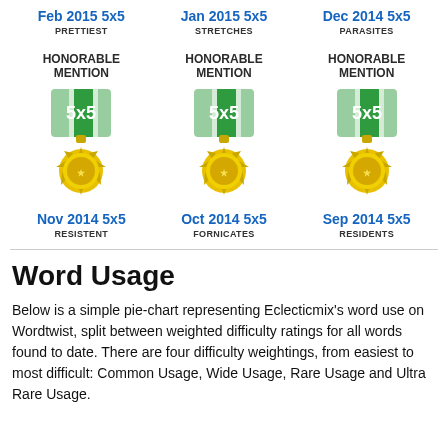Feb 2015 5x5
PRETTIEST
Jan 2015 5x5
STRETCHES
Dec 2014 5x5
PARASITES
HONORABLE MENTION
[Figure (illustration): 5x5 honorable mention medal badge - green ribbon with 5x5 text and gold sunburst medallion]
HONORABLE MENTION
[Figure (illustration): 5x5 honorable mention medal badge - green ribbon with 5x5 text and gold sunburst medallion]
HONORABLE MENTION
[Figure (illustration): 5x5 honorable mention medal badge - green ribbon with 5x5 text and gold sunburst medallion]
Nov 2014 5x5
RESISTENT
Oct 2014 5x5
FORNICATES
Sep 2014 5x5
RESIDENTS
Word Usage
Below is a simple pie-chart representing Eclecticmix's word use on Wordtwist, split between weighted difficulty ratings for all words found to date. There are four difficulty weightings, from easiest to most difficult: Common Usage, Wide Usage, Rare Usage and Ultra Rare Usage.